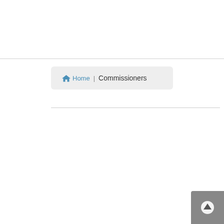[Figure (screenshot): Breadcrumb navigation bar showing a home icon with 'Home' link and 'Commissioners' current page label on a light grey rounded background]
[Figure (other): Scroll to top button, grey rounded square with upward arrow icon, positioned at bottom-right corner]